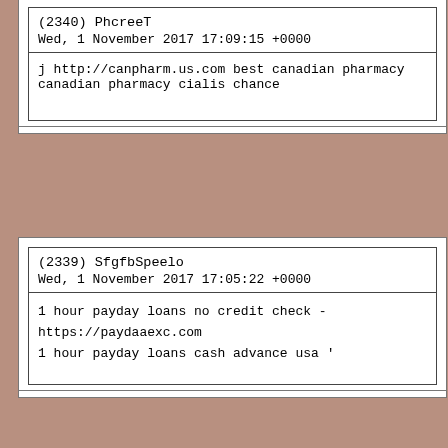(2340) PhcreeT
Wed, 1 November 2017 17:09:15 +0000
j http://canpharm.us.com best canadian pharmacy canadian pharmacy cialis chance
(2339) SfgfbSpeelo
Wed, 1 November 2017 17:05:22 +0000
1 hour payday loans no credit check - https://paydaaexc.com
1 hour payday loans cash advance usa '
(2338) ViQueno
Wed, 1 November 2017 16:53:10 +0000
ngmkfn viagra online